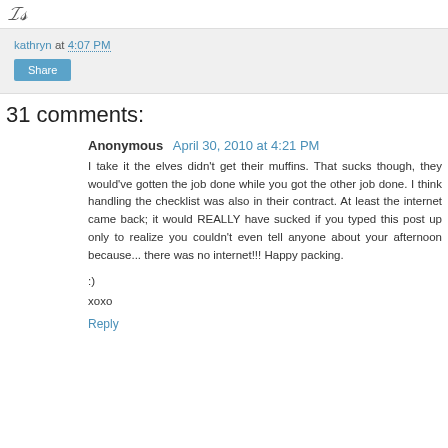[Figure (logo): Cursive/script logo graphic at top left]
kathryn at 4:07 PM
Share
31 comments:
Anonymous  April 30, 2010 at 4:21 PM
I take it the elves didn't get their muffins. That sucks though, they would've gotten the job done while you got the other job done. I think handling the checklist was also in their contract. At least the internet came back; it would REALLY have sucked if you typed this post up only to realize you couldn't even tell anyone about your afternoon because... there was no internet!!! Happy packing.

:)
xoxo
Reply